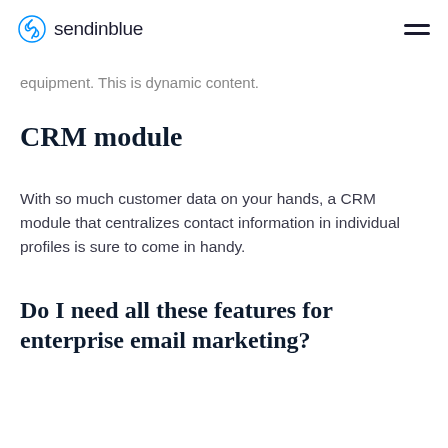sendinblue
equipment. This is dynamic content.
CRM module
With so much customer data on your hands, a CRM module that centralizes contact information in individual profiles is sure to come in handy.
Do I need all these features for enterprise email marketing?